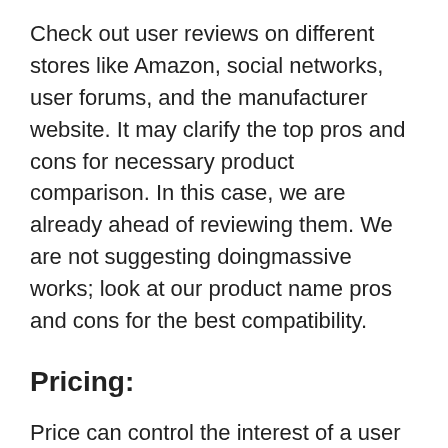Check out user reviews on different stores like Amazon, social networks, user forums, and the manufacturer website. It may clarify the top pros and cons for necessary product comparison. In this case, we are already ahead of reviewing them. We are not suggesting doingmassive works; look at our product name pros and cons for the best compatibility.
Pricing:
Price can control the interest of a user or buyer to buy the respective product. It can determine how many features and performing factors of the product. Again, it can be changeable depending on multiple facts like brand value, topmost features, long then functions and life expectancy. Beyond